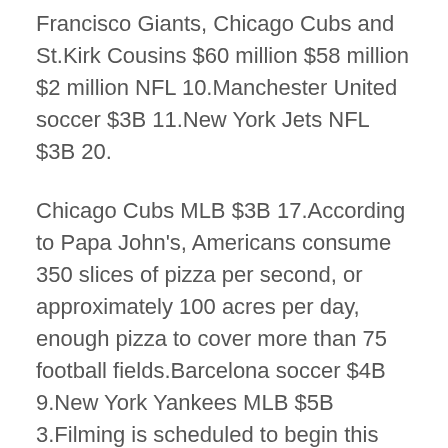Francisco Giants, Chicago Cubs and St.Kirk Cousins $60 million $58 million $2 million NFL 10.Manchester United soccer $3B 11.New York Jets NFL $3B 20.
Chicago Cubs MLB $3B 17.According to Papa John's, Americans consume 350 slices of pizza per second, or approximately 100 acres per day, enough pizza to cover more than 75 football fields.Barcelona soccer $4B 9.New York Yankees MLB $5B 3.Filming is scheduled to begin this Fall.
He's been trained by the best and I think his best times are close ahead.Christian Yelich, Milwaukee Brewers 12.Although specific details were not